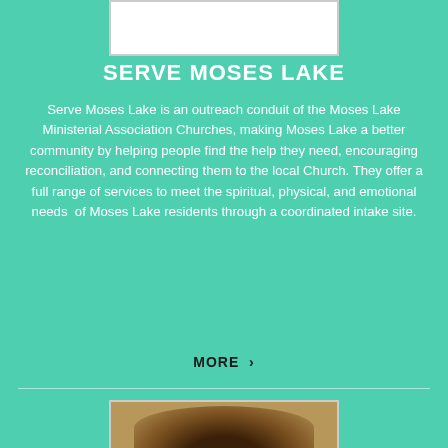[Figure (photo): Top partial image, white box placeholder at top of page]
SERVE MOSES LAKE
Serve Moses Lake is an outreach conduit of the Moses Lake Ministerial Association Churches, making Moses Lake a better community by helping people find the help they need, encouraging reconciliation, and connecting them to the local Church. They offer a full range of services to meet the spiritual, physical, and emotional needs of Moses Lake residents through a coordinated intake site.
MORE ›
[Figure (photo): Bottom partial photo showing the top of a person's head]